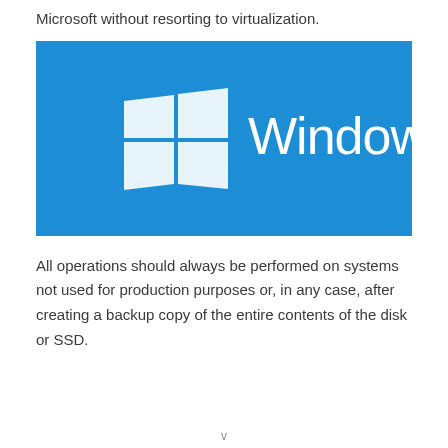Microsoft without resorting to virtualization.
[Figure (logo): Microsoft Windows logo on a blue background — white four-pane window icon on the left and the word 'Windows' in large white sans-serif text on the right.]
All operations should always be performed on systems not used for production purposes or, in any case, after creating a backup copy of the entire contents of the disk or SSD.
v